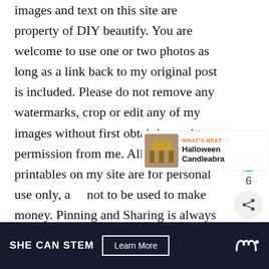images and text on this site are property of DIY beautify. You are welcome to use one or two photos as long as a link back to my original post is included. Please do not remove any watermarks, crop or edit any of my images without first obtaining written permission from me. All free printables on my site are for personal use only, and not to be used to make money. Pinning and Sharing is always welcome and appreciated. Please respect the effort I've put into my blog and I will do the same for you...Thank You!
[Figure (other): UI widget panel showing a teal heart/like button, count of 6, and a share button]
[Figure (other): What's Next recommendation widget showing a Halloween Candleabra thumbnail image with orange WHAT'S NEXT label]
SHE CAN STEM   Learn More